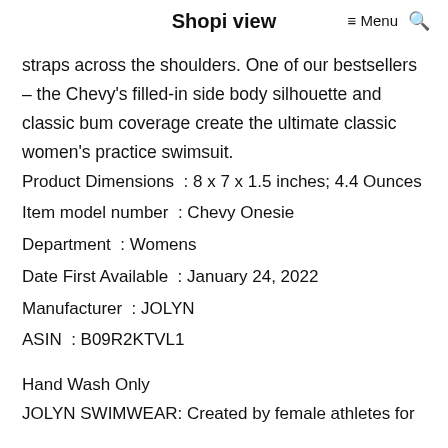Shopi view   ≡ Menu  🔍
straps across the shoulders. One of our bestsellers – the Chevy's filled-in side body silhouette and classic bum coverage create the ultimate classic women's practice swimsuit.
Product Dimensions : 8 x 7 x 1.5 inches; 4.4 Ounces
Item model number : Chevy Onesie
Department : Womens
Date First Available : January 24, 2022
Manufacturer : JOLYN
ASIN : B09R2KTVL1
Hand Wash Only
JOLYN SWIMWEAR: Created by female athletes for